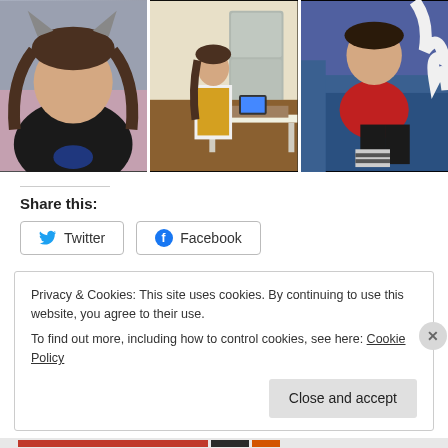[Figure (photo): Three photos of children: left - girl with cat ears headband and pigtails in black t-shirt; center - girl in yellow apron standing in kitchen; right - child in red sweater sitting on blue couch]
Share this:
[Figure (illustration): Twitter share button with bird icon]
[Figure (illustration): Facebook share button with f icon]
Privacy & Cookies: This site uses cookies. By continuing to use this website, you agree to their use.
To find out more, including how to control cookies, see here: Cookie Policy
Close and accept